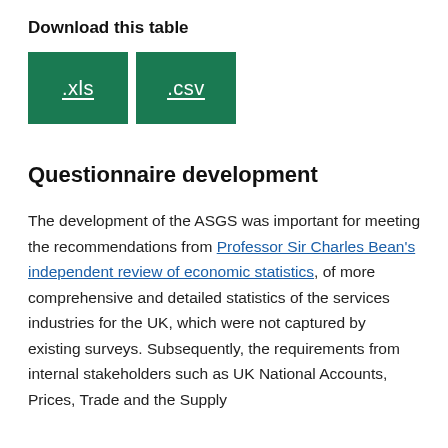Download this table
[Figure (other): Two green download buttons labeled .xls and .csv]
Questionnaire development
The development of the ASGS was important for meeting the recommendations from Professor Sir Charles Bean's independent review of economic statistics, of more comprehensive and detailed statistics of the services industries for the UK, which were not captured by existing surveys. Subsequently, the requirements from internal stakeholders such as UK National Accounts, Prices, Trade and the Supply